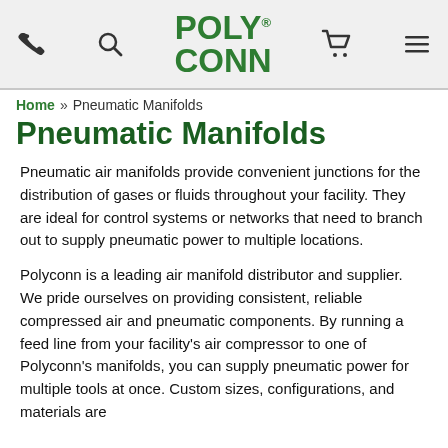POLY-CONN® [phone] [search] [cart] [menu]
Home » Pneumatic Manifolds
Pneumatic Manifolds
Pneumatic air manifolds provide convenient junctions for the distribution of gases or fluids throughout your facility. They are ideal for control systems or networks that need to branch out to supply pneumatic power to multiple locations.
Polyconn is a leading air manifold distributor and supplier. We pride ourselves on providing consistent, reliable compressed air and pneumatic components. By running a feed line from your facility's air compressor to one of Polyconn's manifolds, you can supply pneumatic power for multiple tools at once. Custom sizes, configurations, and materials are